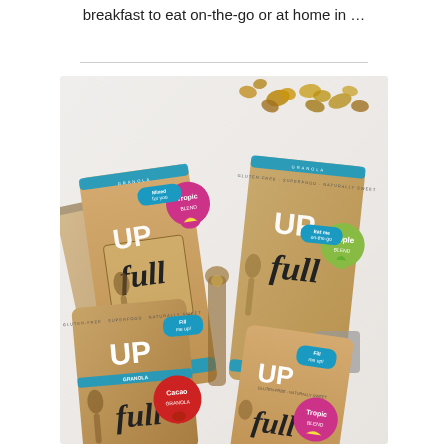breakfast to eat on-the-go or at home in ...
[Figure (photo): Multiple kraft paper bags of 'UPfull' granola products arranged on a white surface, with granola clusters scattered around. Bags feature flavour stickers: Tropic, Apple, Cacao, and another Tropic. Text on bags reads 'UPfull', 'GLUTEN-FREE · SUPERFOOD · NATURALLY SWEET', 'GRANOLA'. Flavour badges include 'Fill me up!' and 'Eat me on-the-go' callouts.]